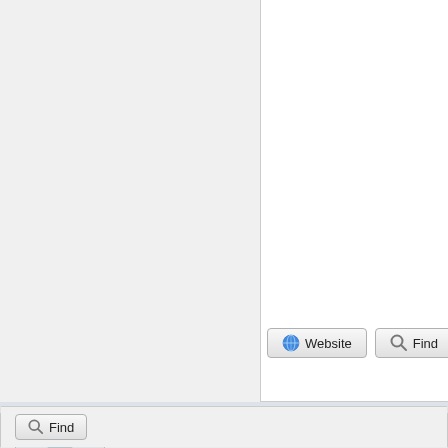[Figure (screenshot): Top panel background area with white content region on right side]
Website
Find
Chris Dee
LDraw.org Moderator ★★★★★
App Developer
JJMA
Re: Minifig leg is wrong
2015-11-22, 21:02
Nothing will break if we retain the existing files (bu
Chris (LDraw Parts Library Admin)
Find